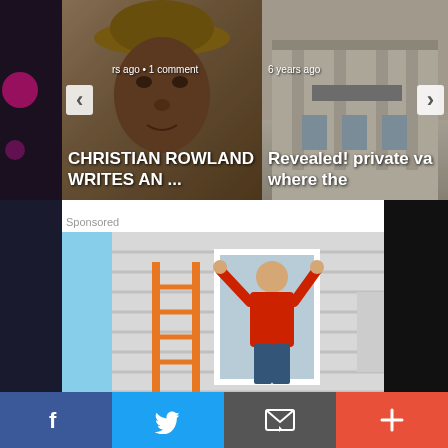[Figure (screenshot): Carousel of article cards. Left card: person wearing hat (blurry face closeup), text 'rs ago • 1 comment' and title 'CHRISTIAN ROWLAND WRITES AN ...'. Right card: building exterior photo, text '6 years ago' and title 'Revealed! private va where the'. Navigation arrows on left and right sides.]
Sponsored
[Figure (photo): Sponsored image showing a person in a red shirt on an orange ladder installing or working on the exterior siding/window frame of a house. Blue sky visible in background.]
[Figure (screenshot): Social sharing bar at bottom with four buttons: Facebook (blue), Twitter (light blue), Email/envelope (dark gray), and Plus/more (orange-red).]